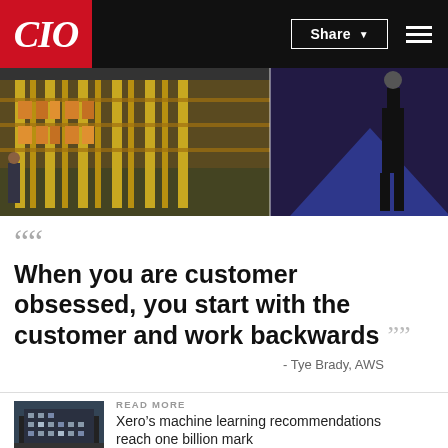CIO | Share
[Figure (photo): Warehouse/industrial facility with yellow shelving racks and a person standing, split composite image with dark blue background on right side]
““ When you are customer obsessed, you start with the customer and work backwards ”” - Tye Brady, AWS
READ MORE
Xero’s machine learning recommendations reach one billion mark